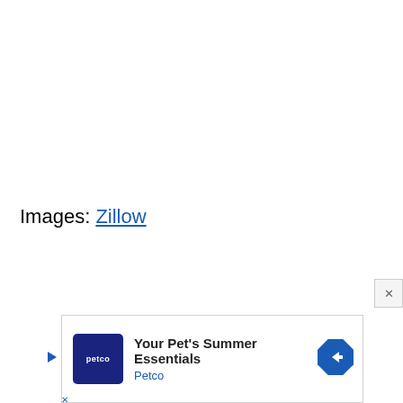Images: Zillow
[Figure (other): Advertisement banner for Petco: 'Your Pet's Summer Essentials' with Petco logo and navigation arrow icon. Includes play button and close (X) controls.]